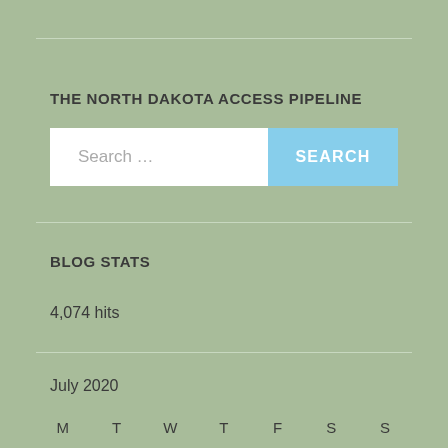THE NORTH DAKOTA ACCESS PIPELINE
[Figure (screenshot): Search bar with text 'Search ...' and a blue SEARCH button]
BLOG STATS
4,074 hits
July 2020
| M | T | W | T | F | S | S |
| --- | --- | --- | --- | --- | --- | --- |